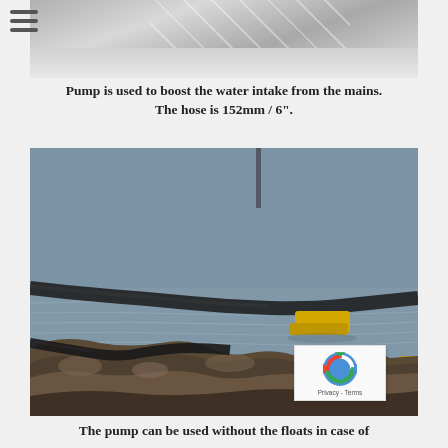[Figure (photo): Partial top image showing what appears to be a pump setup with hose, snow/ground visible at bottom, metallic structures in background]
Pump is used to boost the water intake from the mains. The hose is 152mm / 6".
[Figure (photo): Waterfront scene showing a large dark hose/pipe going into water, a yellow floating device/float in the water, rocky shoreline in foreground, calm water with ripples]
The pump can be used without the floats in case of